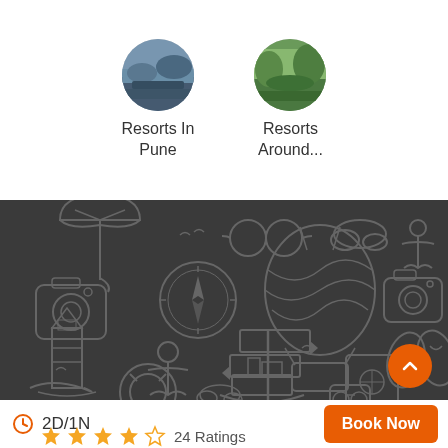[Figure (photo): Circular thumbnail image of Resorts In Pune - landscape scenic view]
Resorts In
Pune
[Figure (photo): Circular thumbnail image of Resorts Around... - green landscape view]
Resorts
Around...
[Figure (illustration): Dark grey background panel with travel/vacation themed outline icon illustrations including umbrella, compass, hot air balloon, camera, lighthouse, anchor, signpost, ship, passport, lifering, and flip-flops]
2D/1N
24 Ratings
Book Now